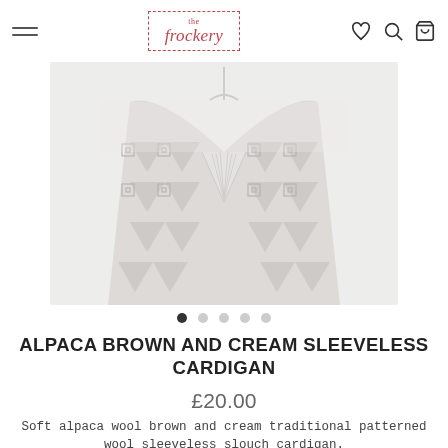the frockery
[Figure (photo): A sleeveless cardigan with brown and cream geometric/traditional alpaca pattern displayed on a hanger, shown from the front. The cardigan has a V-neckline and features a repeating pattern of triangles, squares, and angular motifs in light grey tones against a white/cream background.]
ALPACA BROWN AND CREAM SLEEVELESS CARDIGAN
£20.00
Soft alpaca wool brown and cream traditional patterned wool sleeveless slouch cardigan.